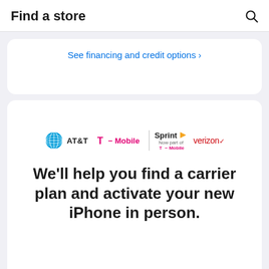Find a store
See financing and credit options ›
[Figure (logo): Carrier logos: AT&T, T-Mobile, Sprint (now part of T-Mobile), Verizon]
We'll help you find a carrier plan and activate your new iPhone in person.